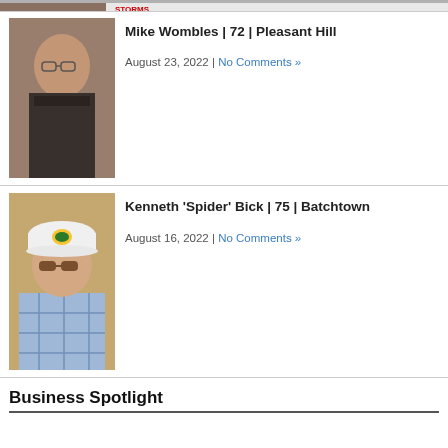[Figure (photo): Partial top strip showing a previous entry's photo (cropped, partially visible)]
Mike Wombles | 72 | Pleasant Hill
August 23, 2022 | No Comments »
[Figure (photo): Portrait photo of Mike Wombles, an older man with glasses wearing a dark jacket]
Kenneth 'Spider' Bick | 75 | Batchtown
August 16, 2022 | No Comments »
[Figure (photo): Portrait photo of Kenneth 'Spider' Bick, an older man wearing a white Bass Pro Shops cap and a blue plaid shirt]
Business Spotlight